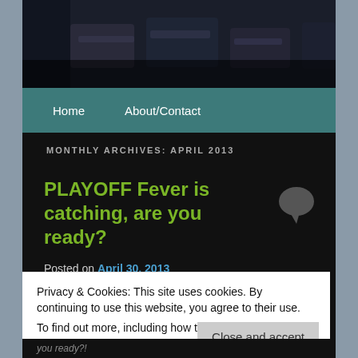[Figure (screenshot): Dark header image showing blurred arena/stadium seats in dark tones]
Home   About/Contact
MONTHLY ARCHIVES: APRIL 2013
PLAYOFF Fever is catching, are you ready?
Posted on April 30, 2013
Privacy & Cookies: This site uses cookies. By continuing to use this website, you agree to their use.
To find out more, including how to control cookies, see here: Cookie Policy
Close and accept
you ready?!